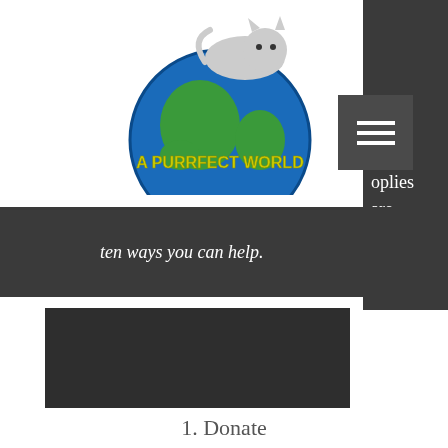[Figure (logo): A Purrfect World logo with a cat sitting on a globe, yellow text 'A PURRFECT WORLD']
our
nds
imals
oplies
are
ten ways you can help.
[Figure (screenshot): Dark image block placeholder]
1. Donate
[Figure (screenshot): Dark image block placeholder second]